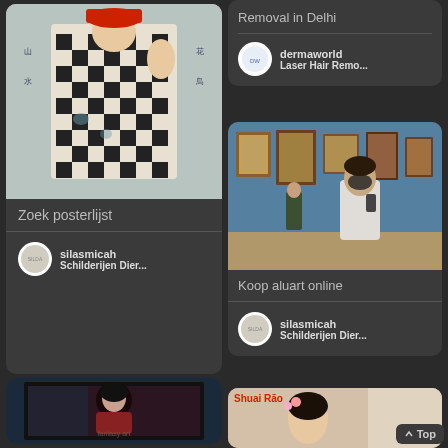[Figure (illustration): Japanese style painting of a figure in checkered black and white kimono with red hat]
Zoek posterlijst
silasmicah
Schilderijen Dier...
Removal in Delhi
dermaworld
Laser Hair Remo...
[Figure (photo): Woman with mask viewing paintings in an art gallery with blue walls]
Koop aluart online
silasmicah
Schilderijen Dier...
[Figure (illustration): Digital art illustration of a dark-haired woman in red dress with fantasy elements]
[Figure (photo): Asian woman with flowers in hair, colorful background, Shuai Rao watermark]
Top